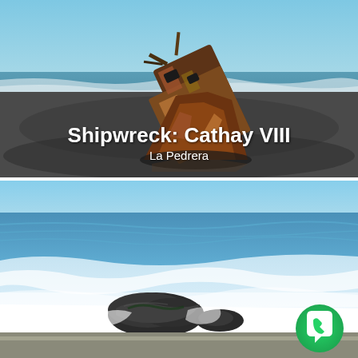[Figure (photo): Photo of a rusty shipwreck tilted on a dark sandy beach with ocean waves in the background and blue sky. Text overlay reads 'Shipwreck: Cathay VIII' and 'La Pedrera'.]
[Figure (photo): Photo of dark rocks in the ocean with white foam waves and blue water. A WhatsApp logo icon appears in the bottom right corner.]